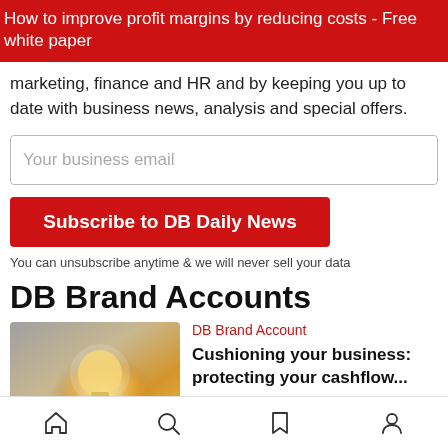How to improve profit margins by reducing costs - Free white paper
marketing, finance and HR and by keeping you up to date with business news, analysis and special offers.
Your business email
Subscribe to DB Daily News
You can unsubscribe anytime & we will never sell your data
DB Brand Accounts
[Figure (photo): Hand holding a glowing light bulb]
DB Brand Account
Cushioning your business: protecting your cashflow...
Home | Search | Bookmark | Account